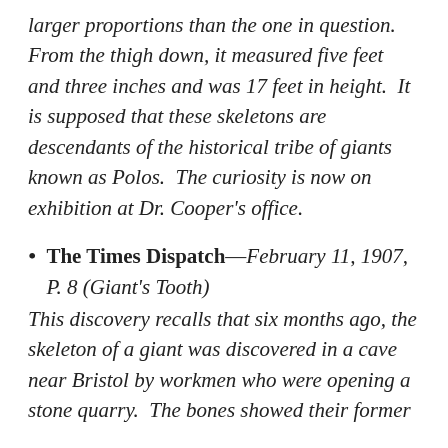larger proportions than the one in question.  From the thigh down, it measured five feet and three inches and was 17 feet in height.  It is supposed that these skeletons are descendants of the historical tribe of giants known as Polos.  The curiosity is now on exhibition at Dr. Cooper's office.
The Times Dispatch—February 11, 1907, P. 8 (Giant's Tooth) This discovery recalls that six months ago, the skeleton of a giant was discovered in a cave near Bristol by workmen who were opening a stone quarry.  The bones showed their former